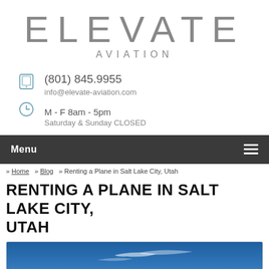[Figure (logo): Elevate Aviation logo with large grey spaced letters ELEVATE and smaller AVIATION below]
(801) 845.9955
info@elevate-aviation.com
M - F 8am - 5pm
Saturday & Sunday CLOSED
Menu
» Home » Blog » Renting a Plane in Salt Lake City, Utah
RENTING A PLANE IN SALT LAKE CITY, UTAH
[Figure (photo): Blue sky with wispy clouds, partial airplane wing visible at bottom]